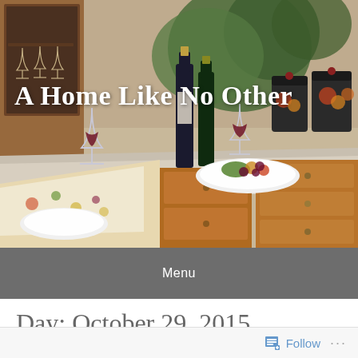[Figure (photo): Kitchen scene with wine bottles, wine glasses, a decorative table runner with fruit patterns, a plate of fruit/cheese, and wooden kitchen drawers with decorative canisters in the background]
A Home Like No Other
Menu
Day: October 29, 2015
Follow ...